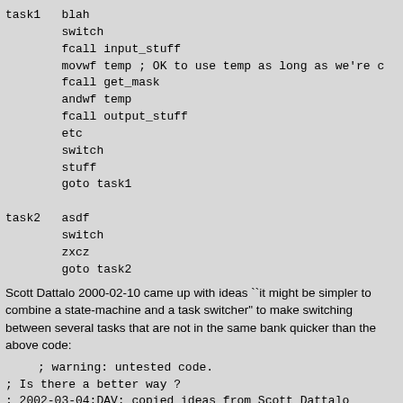task1   blah
        switch
        fcall input_stuff
        movwf temp ; OK to use temp as long as we're c
        fcall get_mask
        andwf temp
        fcall output_stuff
        etc
        switch
        stuff
        goto task1

task2   asdf
        switch
        zxcz
        goto task2
Scott Dattalo 2000-02-10 came up with ideas ``it might be simpler to combine a state-machine and a task switcher" to make switching between several tasks that are not in the same bank quicker than the above code:
; warning: untested code.
; Is there a better way ?
; 2002-03-04:DAV: copied ideas from Scott Dattalo
; faster and shorter (?).
; 2001-10-19:DAV: David Cary extended to handle mu
; ...